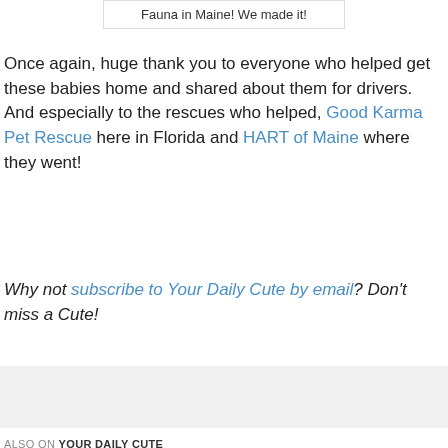Fauna in Maine! We made it!
Once again, huge thank you to everyone who helped get these babies home and shared about them for drivers. And especially to the rescues who helped, Good Karma Pet Rescue here in Florida and HART of Maine where they went!
Why not subscribe to Your Daily Cute by email? Don't miss a Cute!
[Figure (other): Gray advertisement/content placeholder box]
ALSO ON YOUR DAILY CUTE
[Figure (other): Two article cards with left and right navigation arrows, gray image placeholders]